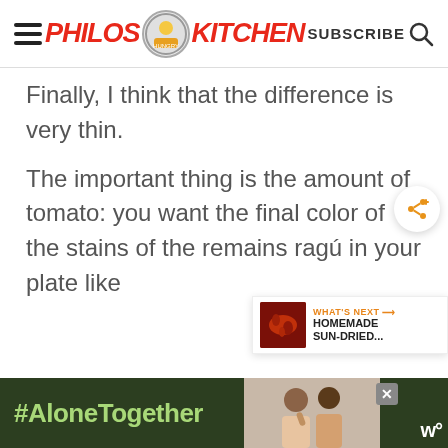Philos Kitchen — SUBSCRIBE
Finally, I think that the difference is very thin.

The important thing is the amount of tomato: you want the final color of the stains of the remains ragú in your plate like
[Figure (screenshot): What's Next panel showing 'HOMEMADE SUN-DRIED...' with a thumbnail image of sun-dried tomatoes]
[Figure (screenshot): Advertisement banner at the bottom with #AloneTogether text on green background and a photo of two people]
#AloneTogether